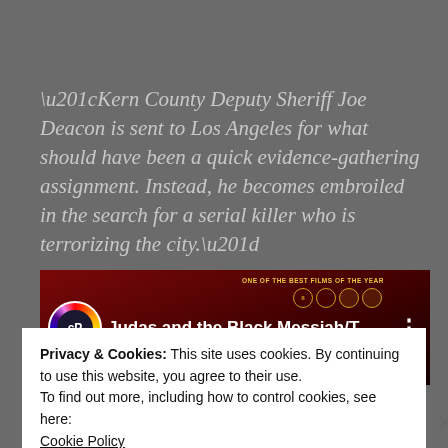“Kern County Deputy Sheriff Joe Deacon is sent to Los Angeles for what should have been a quick evidence-gathering assignment. Instead, he becomes embroiled in the search for a serial killer who is terrorizing the city.”
[Figure (screenshot): Video thumbnail for 'Judas and the Black Messiah/T...' with a circular colorful logo on the left, white title text, award badge icons at the top right, subtitle 'DANIEL KALUUYA  LAKEITH STANFIELD', and a three-dot menu icon on the right. Dark red background.]
Privacy & Cookies: This site uses cookies. By continuing to use this website, you agree to their use.
To find out more, including how to control cookies, see here:
Cookie Policy
Close and accept